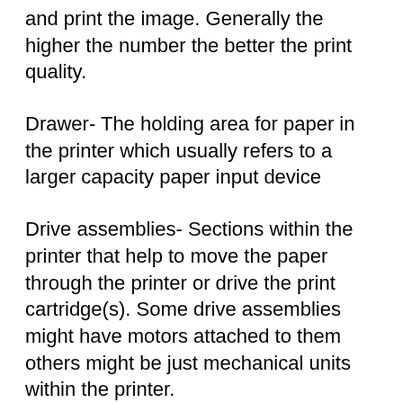and print the image. Generally the higher the number the better the print quality.
Drawer- The holding area for paper in the printer which usually refers to a larger capacity paper input device
Drive assemblies- Sections within the printer that help to move the paper through the printer or drive the print cartridge(s). Some drive assemblies might have motors attached to them others might be just mechanical units within the printer.
driver In computers, a printer driver or a print processor is a piece of software that converts the data to be printed to the form specific a...